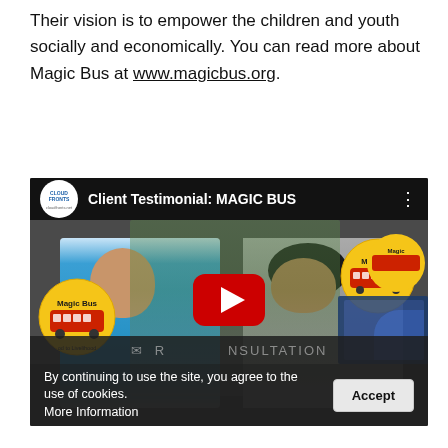Their vision is to empower the children and youth socially and economically. You can read more about Magic Bus at www.magicbus.org.
[Figure (screenshot): YouTube video thumbnail showing 'Client Testimonial: MAGIC BUS' with CloudFronts logo, two men seated at a table, Magic Bus branded banners in background, red YouTube play button in center]
By continuing to use the site, you agree to the use of cookies. More Information